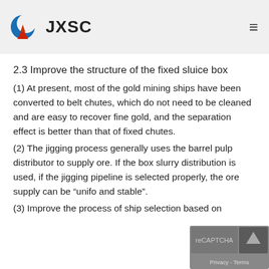JXSC
2.3 Improve the structure of the fixed sluice box
(1) At present, most of the gold mining ships have been converted to belt chutes, which do not need to be cleaned and are easy to recover fine gold, and the separation effect is better than that of fixed chutes.
(2) The jigging process generally uses the barrel pulp distributor to supply ore. If the box slurry distribution is used, if the jigging pipeline is selected properly, the ore supply can be “unifo and stable”.
(3) Improve the process of ship selection based on